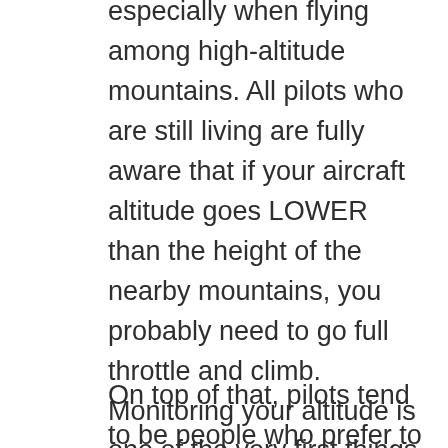especially when flying among high-altitude mountains. All pilots who are still living are fully aware that if your aircraft altitude goes LOWER than the height of the nearby mountains, you probably need to go full throttle and climb. Monitoring your altitude is one of the very first things all pilots are taught (airspeed, altitude and heading, actually), and commercial pilots are taught to scan their instruments on a regular basis to watch for unexpected readings.
On top of that, pilots tend to be people who prefer to be living rather than dead